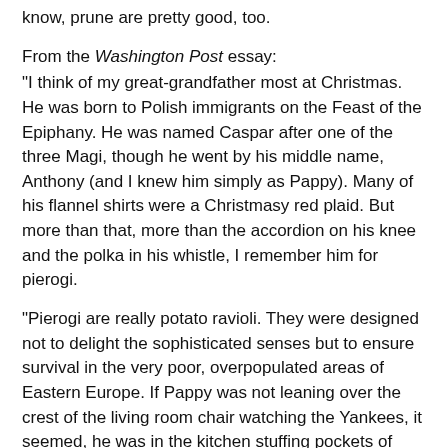know, prune are pretty good, too.
From the Washington Post essay: “I think of my great-grandfather most at Christmas. He was born to Polish immigrants on the Feast of the Epiphany. He was named Caspar after one of the three Magi, though he went by his middle name, Anthony (and I knew him simply as Pappy). Many of his flannel shirts were a Christmasy red plaid. But more than that, more than the accordion on his knee and the polka in his whistle, I remember him for pierogi.
“Pierogi are really potato ravioli. They were designed not to delight the sophisticated senses but to ensure survival in the very poor, overpopulated areas of Eastern Europe. If Pappy was not leaning over the crest of the living room chair watching the Yankees, it seemed, he was in the kitchen stuffing pockets of unleavened dough, pinching their edges before gently placing them in a large pot of rolling salted water.” (Read on.)
Recipe from The Washington Post (my grandmother admitted to adding sour cream to her dough)